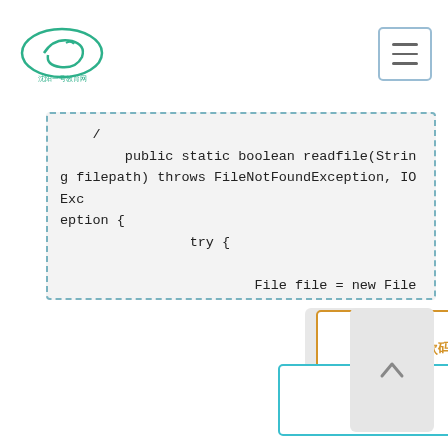Logo and navigation header
[Figure (screenshot): Java code snippet showing a method readfile(String filepath) throws FileNotFoundException, IOException with try block, File instantiation, isDirectory check, and System.out.println calls]
[Figure (infographic): Bottom navigation area with orange bordered button (card/payment icon with Chinese text), teal bordered button (send icon with Chinese text), and a gray back-to-top button with up arrow]